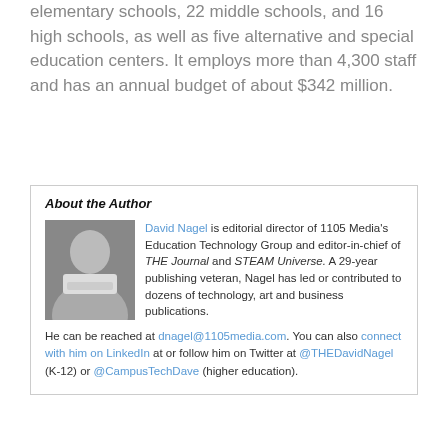elementary schools, 22 middle schools, and 16 high schools, as well as five alternative and special education centers. It employs more than 4,300 staff and has an annual budget of about $342 million.
About the Author
David Nagel is editorial director of 1105 Media's Education Technology Group and editor-in-chief of THE Journal and STEAM Universe. A 29-year publishing veteran, Nagel has led or contributed to dozens of technology, art and business publications.
He can be reached at dnagel@1105media.com. You can also connect with him on LinkedIn at or follow him on Twitter at @THEDavidNagel (K-12) or @CampusTechDave (higher education).